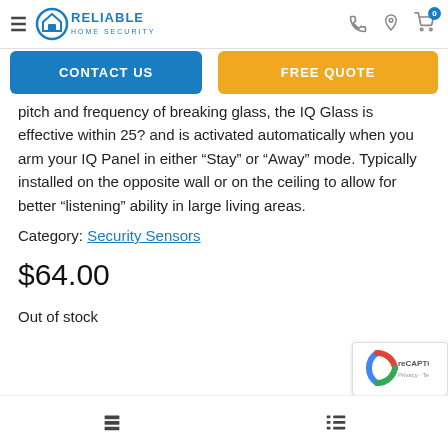Reliable Home Security — navigation header with hamburger menu, logo, phone, location, and cart icons
CONTACT US   FREE QUOTE
pitch and frequency of breaking glass, the IQ Glass is effective within 25? and is activated automatically when you arm your IQ Panel in either “Stay” or “Away” mode. Typically installed on the opposite wall or on the ceiling to allow for better “listening” ability in large living areas.
Category: Security Sensors
$64.00
Out of stock